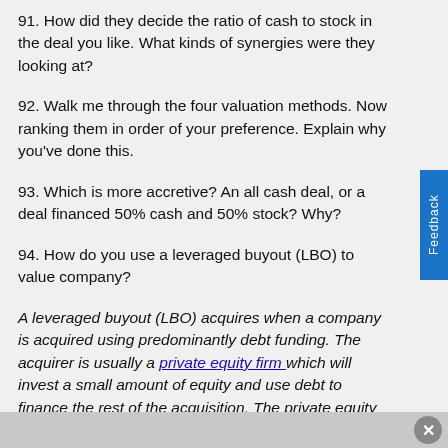91. How did they decide the ratio of cash to stock in the deal you like. What kinds of synergies were they looking at?
92. Walk me through the four valuation methods. Now ranking them in order of your preference. Explain why you've done this.
93. Which is more accretive? An all cash deal, or a deal financed 50% cash and 50% stock? Why?
94. How do you use a leveraged buyout (LBO) to value company?
A leveraged buyout (LBO) acquires when a company is acquired using predominantly debt funding. The acquirer is usually a private equity firm which will invest a small amount of equity and use debt to finance the rest of the acquisition. The private equity fund relies upon the company's cash flow and (or) asset sales to finance the